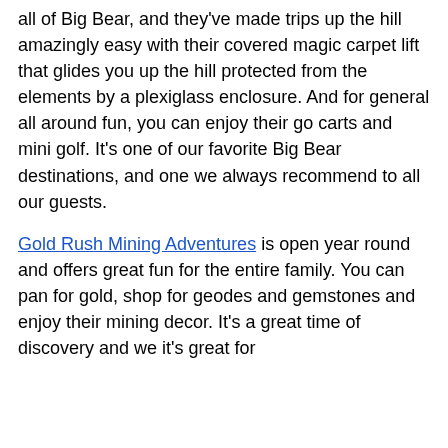all of Big Bear, and they've made trips up the hill amazingly easy with their covered magic carpet lift that glides you up the hill protected from the elements by a plexiglass enclosure. And for general all around fun, you can enjoy their go carts and mini golf. It's one of our favorite Big Bear destinations, and one we always recommend to all our guests.
Gold Rush Mining Adventures is open year round and offers great fun for the entire family. You can pan for gold, shop for geodes and gemstones and enjoy their mining decor. It's a great time of discovery and we it's great for...